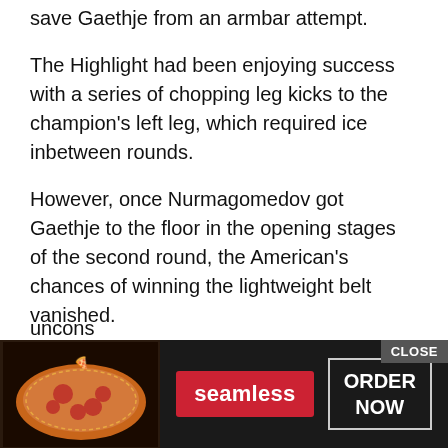save Gaethje from an armbar attempt.
The Highlight had been enjoying success with a series of chopping leg kicks to the champion's left leg, which required ice inbetween rounds.
However, once Nurmagomedov got Gaethje to the floor in the opening stages of the second round, the American's chances of winning the lightweight belt vanished.
The champion sliced through Gaethje's guard with ease and secured a triangle choke that the 31-year-old had no chance of escaping.
Gaethje tapped out and it took the referee several seconds to notice the American had waved the white flag, and once he intervened the challenger slumped to the floor, uncons[cious]
[Figure (other): Advertisement banner for Seamless food delivery with pizza image, red Seamless button, and ORDER NOW button on dark background with CLOSE button]